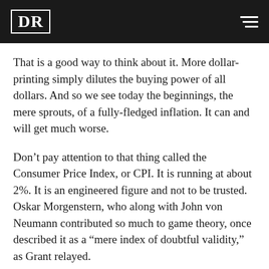DR
That is a good way to think about it. More dollar-printing simply dilutes the buying power of all dollars. And so we see today the beginnings, the mere sprouts, of a fully-fledged inflation. It can and will get much worse.
Don’t pay attention to that thing called the Consumer Price Index, or CPI. It is running at about 2%. It is an engineered figure and not to be trusted. Oskar Morgenstern, who along with John von Neumann contributed so much to game theory, once described it as a “mere index of doubtful validity,” as Grant relayed.